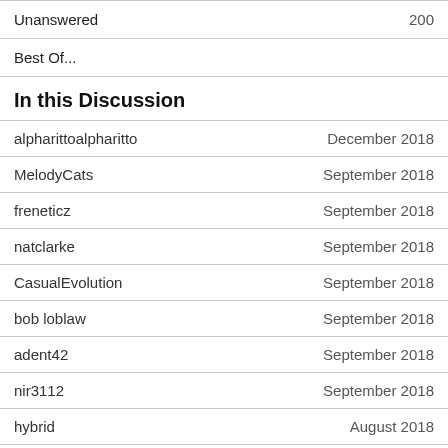| Unanswered | 200 |
| Best Of... |  |
In this Discussion
| User | Date |
| --- | --- |
| alpharittoalpharitto | December 2018 |
| MelodyCats | September 2018 |
| freneticz | September 2018 |
| natclarke | September 2018 |
| CasualEvolution | September 2018 |
| bob loblaw | September 2018 |
| adent42 | September 2018 |
| nir3112 | September 2018 |
| hybrid | August 2018 |
| Triangularity Games | July 2018 |
| unbeatenpixel | June 2018 |
| gizzi93 | June 2018 |